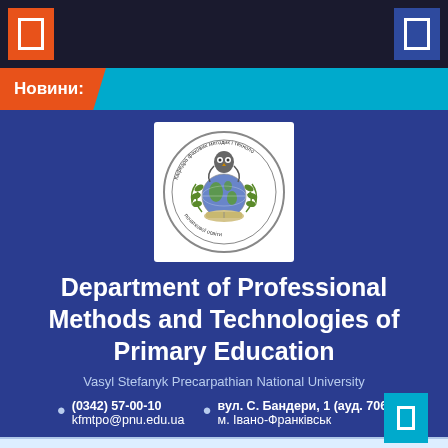Navigation bar with orange and blue icon buttons
Новини:
[Figure (logo): Circular departmental logo/seal with owl, globe, and book, surrounded by text in Ukrainian: Кафедра фахових методик і технологій початкової освіти]
Department of Professional Methods and Technologies of Primary Education
Vasyl Stefanyk Precarpathian National University
(0342) 57-00-10
kfmtpo@pnu.edu.ua
вул. С. Бандери, 1 (ауд. 706)
м. Івано-Франківськ
Головна  ▶  Zamrozevych (Shadrina) Svitlana